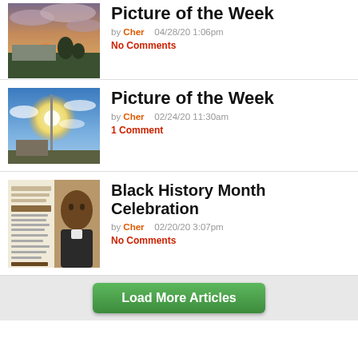[Figure (photo): Rainbow over landscape with sunset clouds, partially cropped at top]
Picture of the Week
by Cher   04/28/20 1:06pm
No Comments
[Figure (photo): Bright sun behind flagpole against blue sky with clouds]
Picture of the Week
by Cher   02/24/20 11:30am
1 Comment
[Figure (photo): Black History Month event flyer with portrait of historical figure]
Black History Month Celebration
by Cher   02/20/20 3:07pm
No Comments
Load More Articles